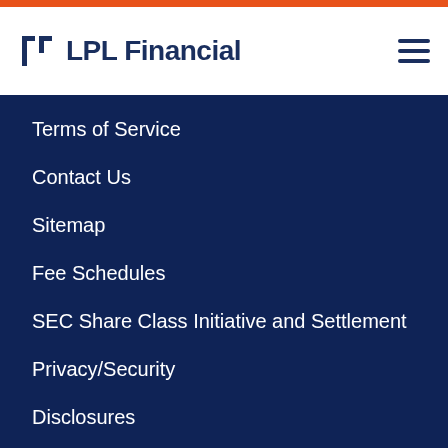[Figure (logo): LPL Financial logo with stylized icon and text]
Terms of Service
Contact Us
Sitemap
Fee Schedules
SEC Share Class Initiative and Settlement
Privacy/Security
Disclosures
Form CRS
Exercise CCPA Rights